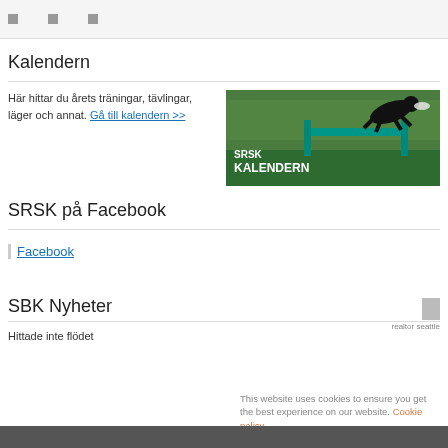Kalendern
Här hittar du årets träningar, tävlingar, läger och annat. Gå till kalendern >>
[Figure (photo): Photo of a black dog jumping over a green hurdle outdoors, with overlay text 'SRSK KALENDERN']
SRSK på Facebook
Facebook
realtor seattle
SBK Nyheter
Hittade inte flödet
This website uses cookies to ensure you get the best experience on our website. Cookie policy
Privacy policy
Allow cookies